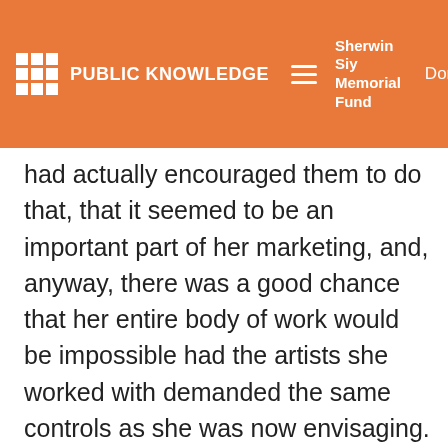PUBLIC KNOWLEDGE | Sherwin Siy Memorial Fund | Donate
had actually encouraged them to do that, that it seemed to be an important part of her marketing, and, anyway, there was a good chance that her entire body of work would be impossible had the artists she worked with demanded the same controls as she was now envisaging.
To this, I just wanted to add a quick